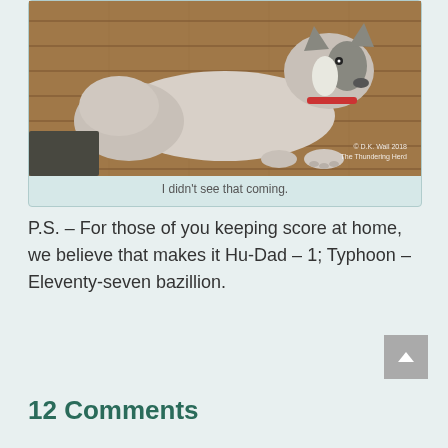[Figure (photo): A Siberian Husky dog lying on a wooden deck, wearing a collar. Watermark reads: © D.K. Wall 2018 / The Thundering Herd]
I didn't see that coming.
P.S. – For those of you keeping score at home, we believe that makes it Hu-Dad – 1; Typhoon – Eleventy-seven bazillion.
12 Comments